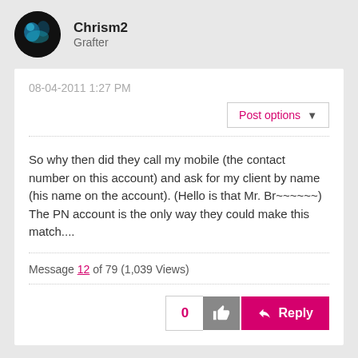Chrism2
Grafter
08-04-2011 1:27 PM
So why then did they call my mobile (the contact number on this account) and ask for my client by name (his name on the account). (Hello is that Mr. Br~~~~~~)
The PN account is the only way they could make this match....
Message 12 of 79 (1,039 Views)